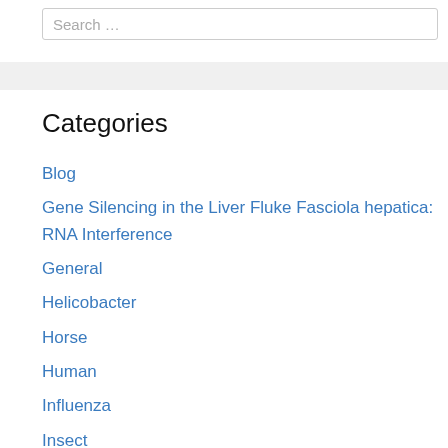Search …
Categories
Blog
Gene Silencing in the Liver Fluke Fasciola hepatica: RNA Interference
General
Helicobacter
Horse
Human
Influenza
Insect